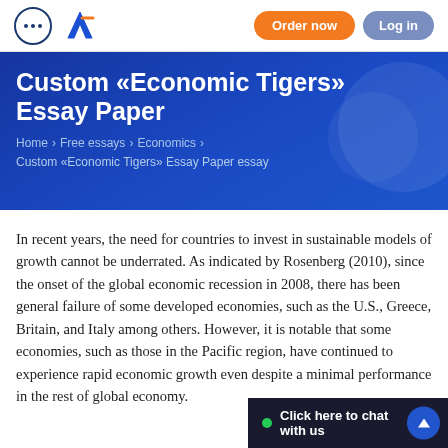Order now  Log in
Custom «Economic Tigers» Essay Paper
Home > Free essays > Economics >
Custom «Economic Tigers» Essay Paper essay
In recent years, the need for countries to invest in sustainable models of growth cannot be underrated. As indicated by Rosenberg (2010), since the onset of the global economic recession in 2008, there has been general failure of some developed economies, such as the U.S., Greece, Britain, and Italy among others. However, it is notable that some economies, such as those in the Pacific region, have continued to experience rapid economic growth even despite a minimal performance in the rest of global economy.